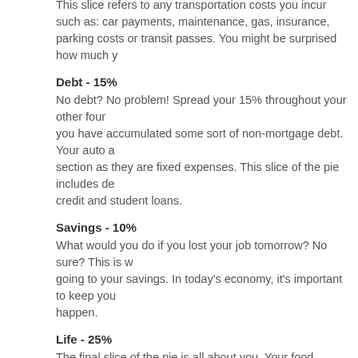This slice refers to any transportation costs you incur such as: car payments, maintenance, gas, insurance, parking costs or transit passes. You might be surprised how much y...
Debt - 15%
No debt? No problem! Spread your 15% throughout your other four... you have accumulated some sort of non-mortgage debt. Your auto a... section as they are fixed expenses. This slice of the pie includes de... credit and student loans.
Savings - 10%
What would you do if you lost your job tomorrow? No sure? This is w... going to your savings. In today's economy, it's important to keep you... happen.
Life - 25%
The final slice of the pie is all about you. Your food, entertainment, n... and really anything that doesn't fall into the other four categories fall...
All it takes to balance your budget is a bit of time and organization. T... financial position becomes and the more home you can buy, knowin... in it.